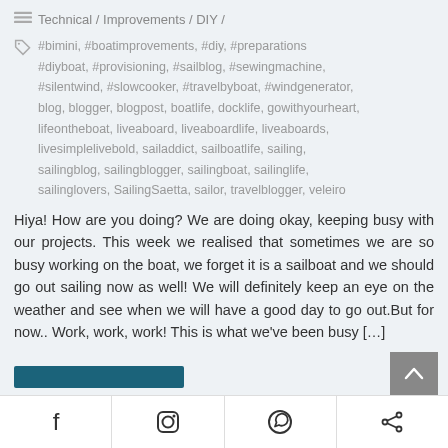Technical / Improvements / DIY /
#bimini, #boatimprovements, #diy, #preparations #diyboat, #provisioning, #sailblog, #sewingmachine, #silentwind, #slowcooker, #travelbyboat, #windgenerator, blog, blogger, blogpost, boatlife, docklife, gowithyourheart, lifeontheboat, liveaboard, liveaboardlife, liveaboards, livesimplelivebold, sailaddict, sailboatlife, sailing, sailingblog, sailingblogger, sailingboat, sailinglife, sailinglovers, SailingSaetta, sailor, travelblogger, veleiro
Hiya! How are you doing? We are doing okay, keeping busy with our projects. This week we realised that sometimes we are so busy working on the boat, we forget it is a sailboat and we should go out sailing now as well! We will definitely keep an eye on the weather and see when we will have a good day to go out.But for now.. Work, work, work! This is what we've been busy […]